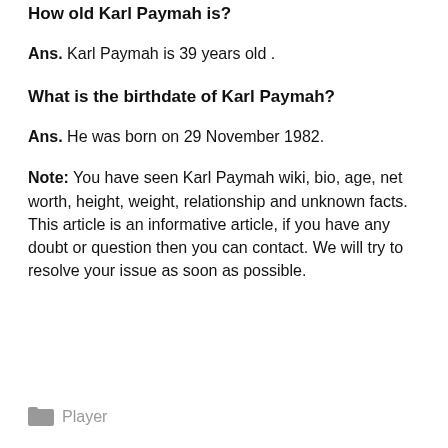How old Karl Paymah is?
Ans. Karl Paymah is 39 years old .
What is the birthdate of Karl Paymah?
Ans. He was born on 29 November 1982.
Note: You have seen Karl Paymah wiki, bio, age, net worth, height, weight, relationship and unknown facts. This article is an informative article, if you have any doubt or question then you can contact. We will try to resolve your issue as soon as possible.
Player